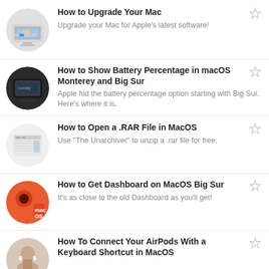How to Upgrade Your Mac — Upgrade your Mac for Apple's latest software!
How to Show Battery Percentage in macOS Monterey and Big Sur — Apple hid the battery percentage option starting with Big Sur. Here's where it is.
How to Open a .RAR File in MacOS — Use "The Unarchiver" to unzip a .rar file for free.
How to Get Dashboard on MacOS Big Sur — It's as close to the old Dashboard as you'll get!
How To Connect Your AirPods With a Keyboard Shortcut in MacOS